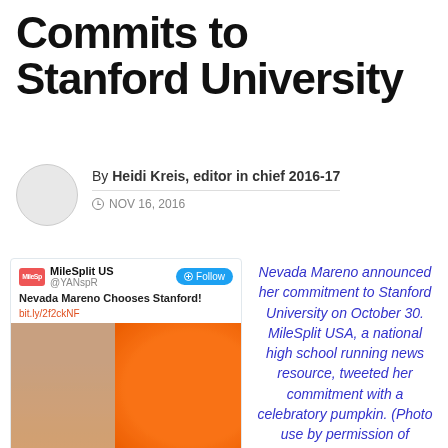Commits to Stanford University
By Heidi Kreis, editor in chief 2016-17
NOV 16, 2016
[Figure (screenshot): A tweet from MileSplit US showing Nevada Mareno Chooses Stanford! with a photo of a girl holding a Stanford tree pumpkin]
Nevada Mareno announced her commitment to Stanford University on October 30. MileSplit USA, a national high school running news resource, tweeted her commitment with a celebratory pumpkin. (Photo use by permission of MileSplit USA)